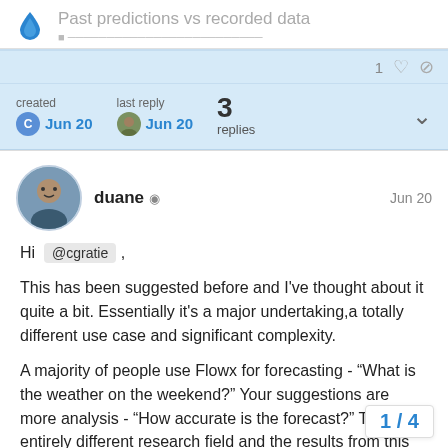Past predictions vs recorded data
created Jun 20   last reply Jun 20   3 replies
duane   Jun 20
Hi @cgratie ,
This has been suggested before and I've thought about it quite a bit. Essentially it's a major undertaking,a totally different use case and significant complexity.
A majority of people use Flowx for forecasting - “What is the weather on the weekend?” Your suggestions are more analysis - “How accurate is the forecast?” This an entirely different research field and the results from this ana... be black and white. They are going to be f...
1 / 4